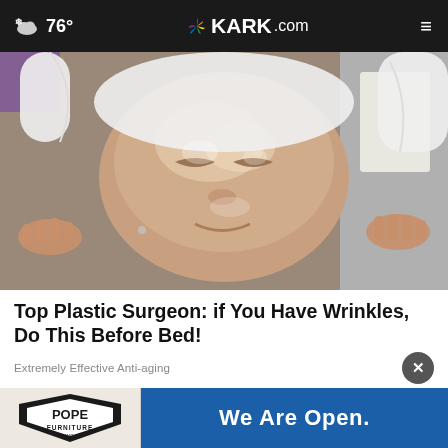76° KARK.com
[Figure (photo): Woman lying back with a facial treatment mask/cream applied to her face, eyes closed, white towel around her head. A pair of hands visible at the edges applying or holding the towel.]
Top Plastic Surgeon: if You Have Wrinkles, Do This Before Bed!
Extremely Effective Anti-aging
[Figure (photo): Pope Furniture advertisement banner showing logo on left and 'We Are Open.' text on blue background on right.]